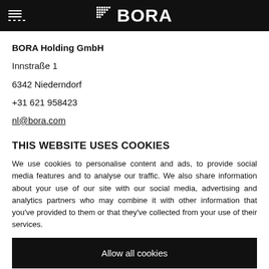BORA
BORA Holding GmbH
Innstraße 1
6342 Niederndorf
+31 621 958423
nl@bora.com
THIS WEBSITE USES COOKIES
We use cookies to personalise content and ads, to provide social media features and to analyse our traffic. We also share information about your use of our site with our social media, advertising and analytics partners who may combine it with other information that you've provided to them or that they've collected from your use of their services.
Allow all cookies
Customise cookies and details